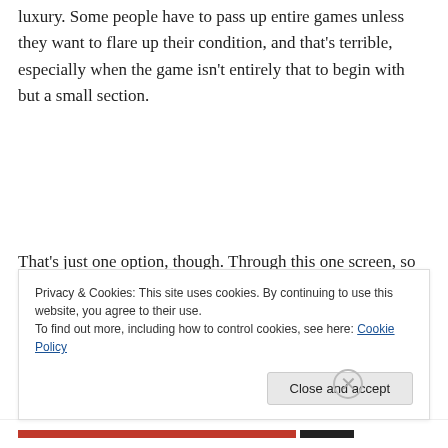luxury. Some people have to pass up entire games unless they want to flare up their condition, and that's terrible, especially when the game isn't entirely that to begin with but a small section.
That's just one option, though. Through this one screen, so many small tweaks to game play is available not only to allow people with disabilities to play but also allow people who might not be Amazing at this kind of game to get the
Privacy & Cookies: This site uses cookies. By continuing to use this website, you agree to their use.
To find out more, including how to control cookies, see here: Cookie Policy